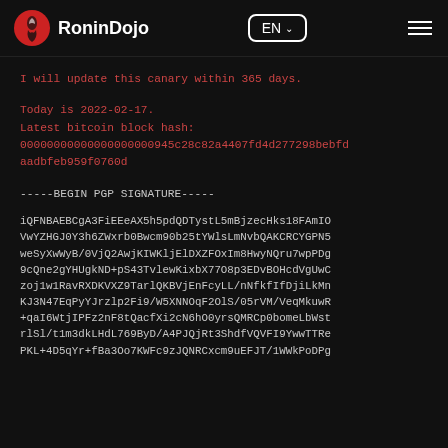RoninDojo  EN  ☰
I will update this canary within 365 days.
Today is 2022-02-17.
Latest bitcoin block hash:
00000000000000000000945c28c82a4407fd4d277298bebfdaadbfeb959f0760d
-----BEGIN PGP SIGNATURE-----
iQFNBAEBCgA3FiEEeAX5h5pdQDTystL5mBjzecHks18FAmIO
VwYZHGJ0Y3h6ZWxrb0Bwcm90b25tYWlsLmNvbQAKCRCYGPN5
weSyXwWyB/0VjQ2AwjKIWKljElDXZFOxIm8HwyNQru7wpPDg
9cQne2gYHUgkND+pS43TvlewKixbX77O8p3EDvBOHcdVgUwC
zoj1w1RavRXDKVXZ9TarlQKBVjEnFcyLL/nNfkfIfDjiLkMn
KJ3N47EqPyYJrzlp2Fi9/W5XNNOqF2OlS/05rVM/VeqMkuwR
+qaI6WtjIPFz2nF8tQacfXi2cN6hO0yrsQMRCp0bomeLbWst
rlSl/t1m3dkLHdL769ByD/A4PJQjRt3ShdfVQVFI9YwwTTRe
PKL+4D5qYr+fBa3Oo7KWFc9zJQNRCxcm9uEFJT/1WWkPoDPg